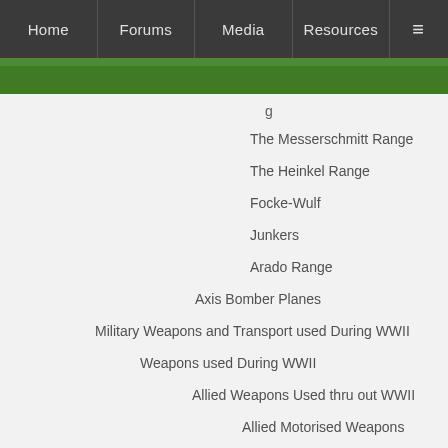Home | Forums | Media | Resources | ≡
g
The Messerschmitt Range
The Heinkel Range
Focke-Wulf
Junkers
Arado Range
Axis Bomber Planes
Military Weapons and Transport used During WWII
Weapons used During WWII
Allied Weapons Used thru out WWII
Allied Motorised Weapons
Allied Heavy Weapons
Allied Light Weapons
German Weapons Used thru out WWII
German Motorised Weapons